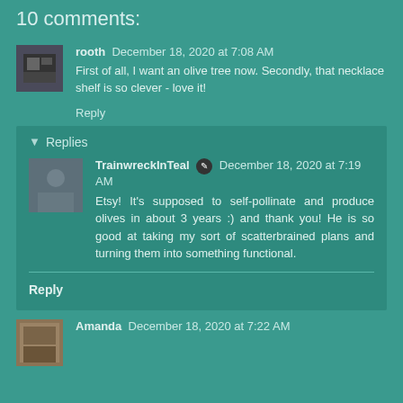10 comments:
rooth  December 18, 2020 at 7:08 AM
First of all, I want an olive tree now. Secondly, that necklace shelf is so clever - love it!
Reply
Replies
TrainwreckInTeal  December 18, 2020 at 7:19 AM
Etsy! It's supposed to self-pollinate and produce olives in about 3 years :) and thank you! He is so good at taking my sort of scatterbrained plans and turning them into something functional.
Reply
Amanda  December 18, 2020 at 7:22 AM